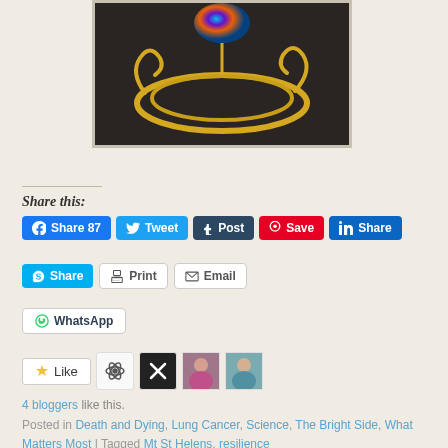[Figure (photo): Partial photo of gold bangle/jewelry piece with colorful stone against dark background, shown cut off at top of page]
Share this:
Share 87  Tweet  Post  Save  Share  Share  Print  Email  WhatsApp
[Figure (other): Like button with star icon, followed by 4 blogger avatar icons (atom icon, X icon, two profile photos)]
4 bloggers like this.
Posted in Death and Dying, Lung Cancer, Science, The Bright Side, What Matters Most | Tagged Mt St Helens, resilience